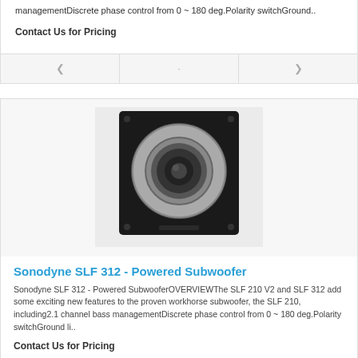managementDiscrete phase control from 0 ~ 180 deg.Polarity switchGround..
Contact Us for Pricing
[Figure (photo): Sonodyne SLF 312 powered subwoofer - black square enclosure with large circular driver]
Sonodyne SLF 312 - Powered Subwoofer
Sonodyne SLF 312 - Powered SubwooferOVERVIEWThe SLF 210 V2 and SLF 312 add some exciting new features to the proven workhorse subwoofer, the SLF 210, including2.1 channel bass managementDiscrete phase control from 0 ~ 180 deg.Polarity switchGround li..
Contact Us for Pricing